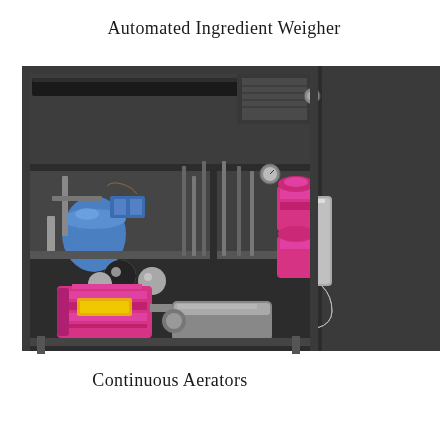Automated Ingredient Weigher
[Figure (photo): Industrial continuous aerator machine with pink/magenta electric motor and pump assembly mounted on a steel frame, showing internal piping, valves, blue accumulator, and pink pump heads. Right side shows a dark rectangular panel/enclosure.]
Continuous Aerators